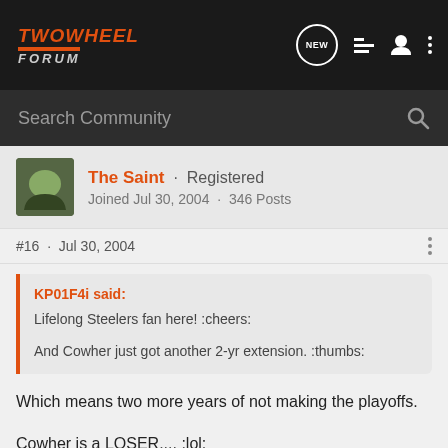TWOWHEEL FORUM
Search Community
The Saint · Registered
Joined Jul 30, 2004 · 346 Posts
#16 · Jul 30, 2004
KP01F4i said:
Lifelong Steelers fan here! :cheers:

And Cowher just got another 2-yr extension. :thumbs:
Which means two more years of not making the playoffs.

Cowher is a LOSER.... :lol: